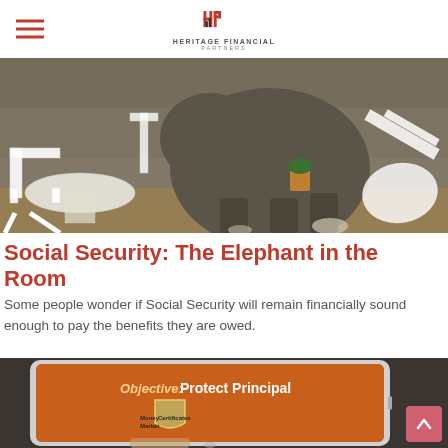Heritage Financial Partners
[Figure (photo): Elephant standing in a restaurant dining room with white chairs and tables knocked over, stone wall background]
Social Security: The Elephant in the Room
Some people wonder if Social Security will remain financially sound enough to pay the benefits they are owed.
[Figure (photo): Tablet showing a slide with 'Objective: Protect Principal' text on orange background with a shield graphic, hand holding the tablet]